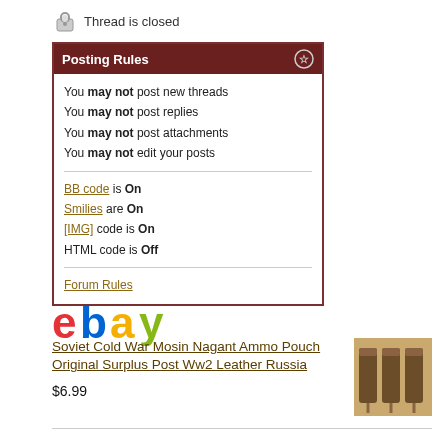Thread is closed
Posting Rules
You may not post new threads
You may not post replies
You may not post attachments
You may not edit your posts
BB code is On
Smilies are On
[IMG] code is On
HTML code is Off
Forum Rules
[Figure (logo): eBay logo with colorful letters]
Soviet Cold War Mosin Nagant Ammo Pouch Original Surplus Post Ww2 Leather Russia
$6.99
[Figure (photo): Photo of leather ammo pouches mounted on wall]
Russian V Russia Flag Colors Morale Patch Embroidery Sewn Hook And Loop Backing
$9.00
[Figure (photo): Photo of V-shaped morale patch with Russian flag colors]